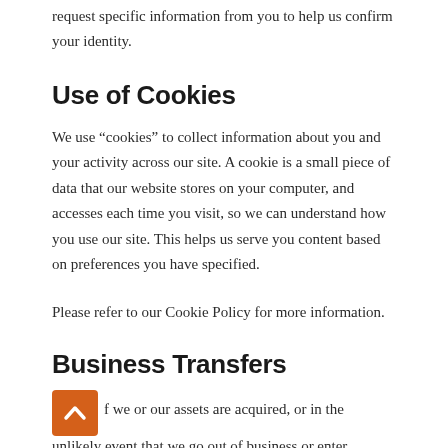request specific information from you to help us confirm your identity.
Use of Cookies
We use “cookies” to collect information about you and your activity across our site. A cookie is a small piece of data that our website stores on your computer, and accesses each time you visit, so we can understand how you use our site. This helps us serve you content based on preferences you have specified.
Please refer to our Cookie Policy for more information.
Business Transfers
If we or our assets are acquired, or in the unlikely event that we go out of business or enter bankruptcy, we would include